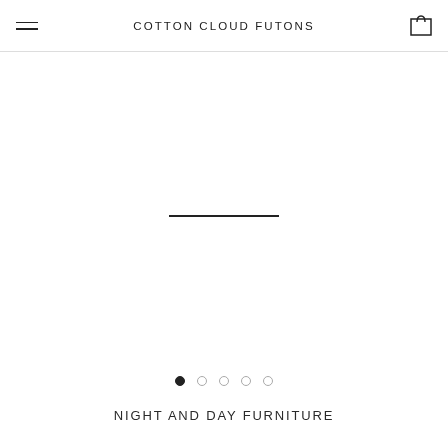COTTON CLOUD FUTONS
[Figure (screenshot): Main product image area showing a loading state with a horizontal black line in the center, and a share icon button in the top right corner]
[Figure (infographic): Carousel navigation dots: five dots, first one filled black (active), remaining four are empty circles]
NIGHT AND DAY FURNITURE